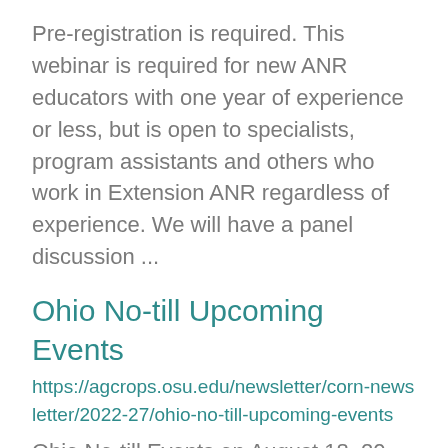Pre-registration is required. This webinar is required for new ANR educators with one year of experience or less, but is open to specialists, program assistants and others who work in Extension ANR regardless of experience. We will have a panel discussion ...
Ohio No-till Upcoming Events
https://agcrops.osu.edu/newsletter/corn-newsletter/2022-27/ohio-no-till-upcoming-events
Ohio No-till Events on August 18, 20 and 23 The Ohio No-till Council is providing three opportunities to learn the latest